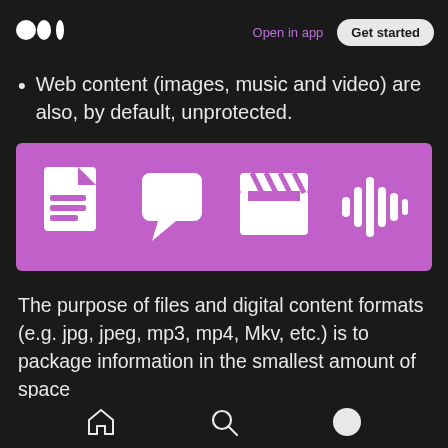Open in app  Get started
Web content (images, music and video) are also, by default, unprotected.
[Figure (illustration): Purple/magenta banner with four white icons: a document/file icon, a speech bubble/chat icon, a film clapperboard icon, and an audio waveform icon.]
The purpose of files and digital content formats (e.g. jpg, jpeg, mp3, mp4, Mkv, etc.) is to package information in the smallest amount of space
Home  Search  Profile